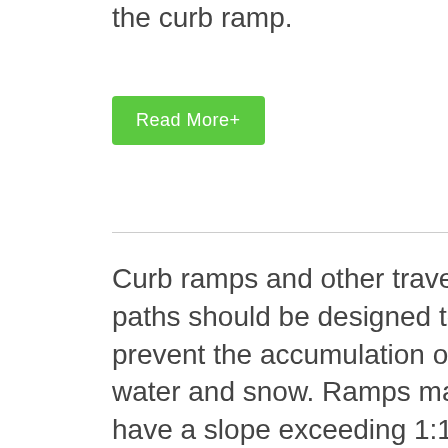the curb ramp.
Read More+
Curb ramps and other travel paths should be designed to prevent the accumulation of water and snow. Ramps may not have a slope exceeding 1:12. Ramps must have a landing for each 30 inches of rise (ADAAG §405).